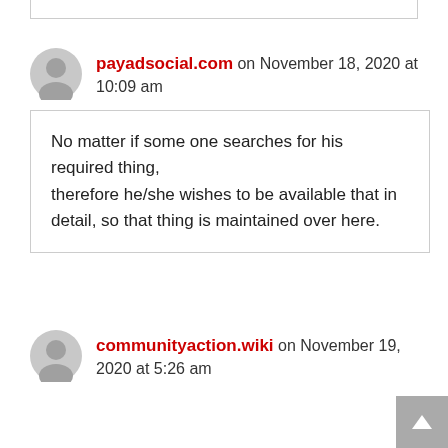payadsocial.com on November 18, 2020 at 10:09 am
No matter if some one searches for his required thing, therefore he/she wishes to be available that in detail, so that thing is maintained over here.
communityaction.wiki on November 19, 2020 at 5:26 am